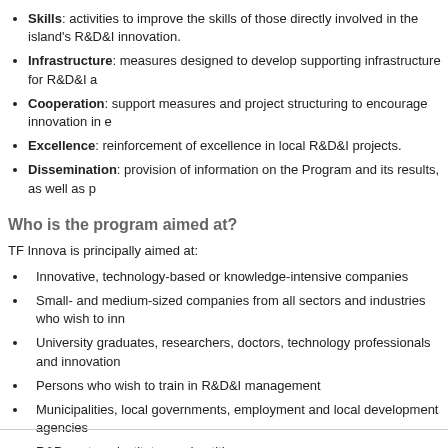Skills: activities to improve the skills of those directly involved in the island's R&D&I innovation.
Infrastructure: measures designed to develop supporting infrastructure for R&D&I a...
Cooperation: support measures and project structuring to encourage innovation in...
Excellence: reinforcement of excellence in local R&D&I projects.
Dissemination: provision of information on the Program and its results, as well as p...
Who is the program aimed at?
TF Innova is principally aimed at:
Innovative, technology-based or knowledge-intensive companies
Small- and medium-sized companies from all sectors and industries who wish to inn...
University graduates, researchers, doctors, technology professionals and innovation...
Persons who wish to train in R&D&I management
Municipalities, local governments, employment and local development agencies
R&D centres, institutes and entities
The population as a whole